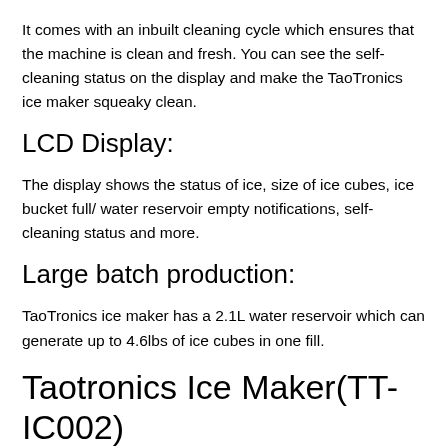It comes with an inbuilt cleaning cycle which ensures that the machine is clean and fresh. You can see the self-cleaning status on the display and make the TaoTronics ice maker squeaky clean.
LCD Display:
The display shows the status of ice, size of ice cubes, ice bucket full/ water reservoir empty notifications, self-cleaning status and more.
Large batch production:
TaoTronics ice maker has a 2.1L water reservoir which can generate up to 4.6lbs of ice cubes in one fill.
Taotronics Ice Maker(TT-IC002)